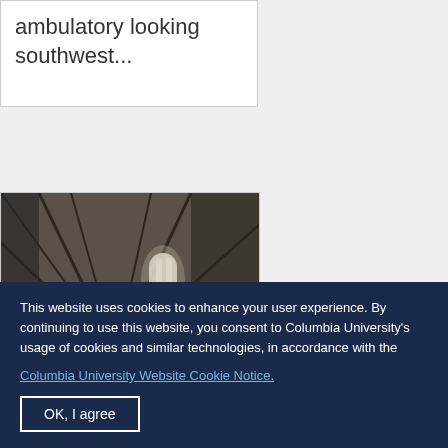ambulatory looking southwest...
[Figure (photo): Interior of a Gothic cathedral showing ribbed vaulting, a large rose window on the left, tall narrow windows, and ornate stone architecture looking southwest through the ambulatory.]
This website uses cookies to enhance your user experience. By continuing to use this website, you consent to Columbia University's usage of cookies and similar technologies, in accordance with the Columbia University Website Cookie Notice.
OK, I agree